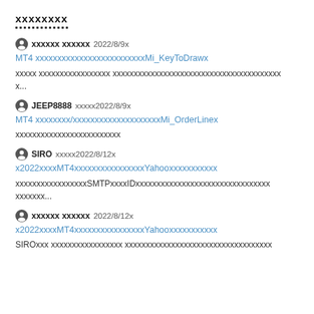xxxxxxxx
xxxxxx xxxxx2022/8/9x
MT4 xxxxxxxxxxxxxxxxxxxxxxxxxMi_KeyToDrawx
xxxxx xxxxxxxxxxxxxxxxx xxxxxxxxxxxxxxxxxxxxxxxxxxxxxxxxxxxxxxxx
x...
JEEP8888 xxxxx2022/8/9x
MT4 xxxxxxxx/xxxxxxxxxxxxxxxxxxxxMi_OrderLinex
xxxxxxxxxxxxxxxxxxxxxxxxx
SIRO xxxxx2022/8/12x
x2022xxxxMT4xxxxxxxxxxxxxxxxYahooxxxxxxxxxxx
xxxxxxxxxxxxxxxxxSMTPxxxxIDxxxxxxxxxxxxxxxxxxxxxxxxxxxxxxxx
xxxxxxx...
xxxxxx xxxxx2022/8/12x
x2022xxxxMT4xxxxxxxxxxxxxxxxYahooxxxxxxxxxxx
SIROxxx xxxxxxxxxxxxxxxxx xxxxxxxxxxxxxxxxxxxxxxxxxxxxxxxxxxx